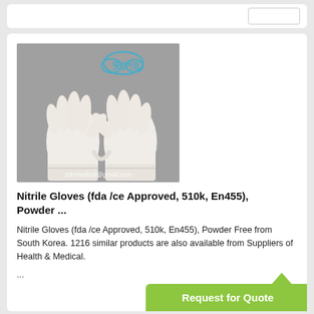[Figure (photo): Two white nitrile examination gloves shown with fingers spread against a gray background, with Chinese characters logo and text 'zdcmedical@gmail.com' watermark]
Nitrile Gloves (fda /ce Approved, 510k, En455), Powder ...
Nitrile Gloves (fda /ce Approved, 510k, En455), Powder Free from South Korea. 1216 similar products are also available from Suppliers of Health & Medical.
...